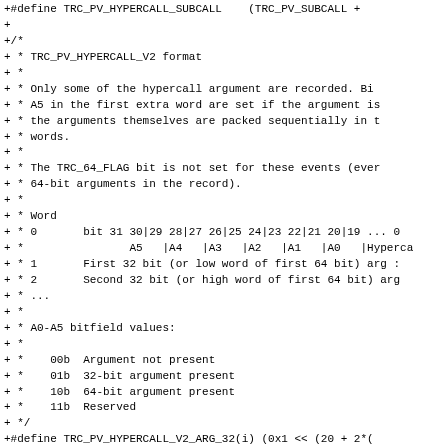+#define TRC_PV_HYPERCALL_SUBCALL    (TRC_PV_SUBCALL +
+
+/*
+ * TRC_PV_HYPERCALL_V2 format
+ *
+ * Only some of the hypercall argument are recorded. Bi
+ * A5 in the first extra word are set if the argument is
+ * the arguments themselves are packed sequentially in t
+ * words.
+ *
+ * The TRC_64_FLAG bit is not set for these events (ever
+ * 64-bit arguments in the record).
+ *
+ * Word
+ * 0       bit 31 30|29 28|27 26|25 24|23 22|21 20|19 ... 0
+ *                A5   |A4   |A3   |A2   |A1   |A0   |Hyperca
+ * 1       First 32 bit (or low word of first 64 bit) arg :
+ * 2       Second 32 bit (or high word of first 64 bit) arg
+ * ...
+ *
+ * A0-A5 bitfield values:
+ *
+ *    00b  Argument not present
+ *    01b  32-bit argument present
+ *    10b  64-bit argument present
+ *    11b  Reserved
+ */
+#define TRC_PV_HYPERCALL_V2_ARG_32(i) (0x1 << (20 + 2*(
+#define TRC_PV_HYPERCALL_V2_ARG_64(i) (0x2 << (20 + 2*(
+#define TRC_PV_HYPERCALL_V2_ARG_MASK  (0xfff00000)